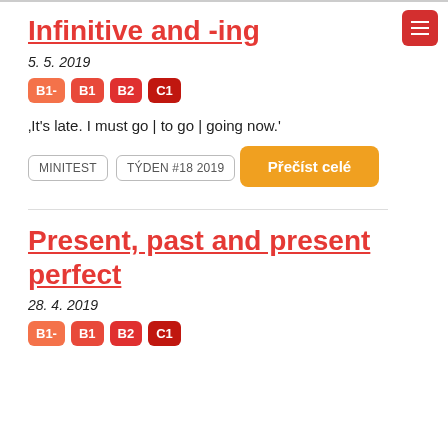Infinitive and -ing
5. 5. 2019
B1-
B1
B2
C1
„It’s late. I must go | to go | going now.“
MINITEST
TÝDEN #18 2019
Přečíst celé
Present, past and present perfect
28. 4. 2019